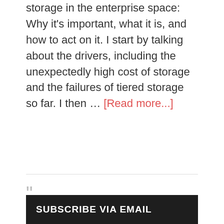storage in the enterprise space: Why it's important, what it is, and how to act on it. I start by talking about the drivers, including the unexpectedly high cost of storage and the failures of tiered storage so far. I then … [Read more...]
" An SSD is just a very small storage array
Stephen Foskett
SUBSCRIBE VIA EMAIL